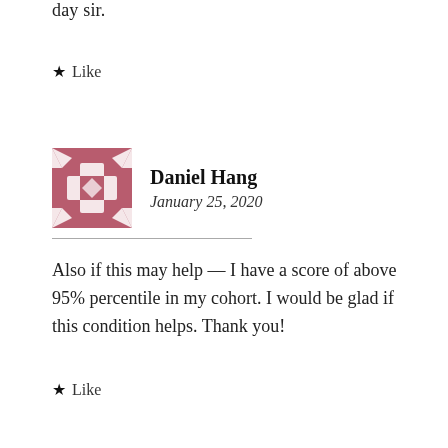day sir.
★ Like
Daniel Hang
January 25, 2020
Also if this may help — I have a score of above 95% percentile in my cohort. I would be glad if this condition helps. Thank you!
★ Like